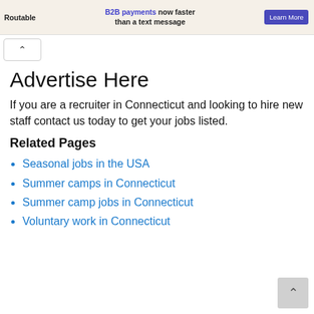[Figure (other): Advertisement banner for Routable: 'B2B payments now faster than a text message' with a Learn More button]
Advertise Here
If you are a recruiter in Connecticut and looking to hire new staff contact us today to get your jobs listed.
Related Pages
Seasonal jobs in the USA
Summer camps in Connecticut
Summer camp jobs in Connecticut
Voluntary work in Connecticut